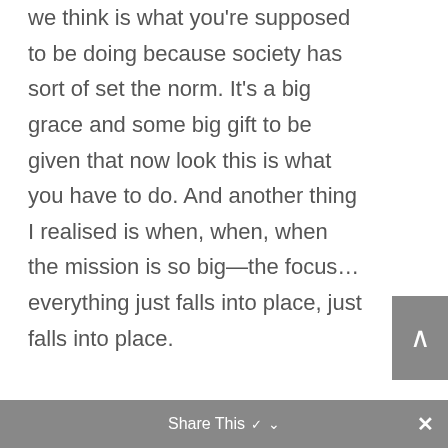we think is what you're supposed to be doing because society has sort of set the norm. It's a big grace and some big gift to be given that now look this is what you have to do. And another thing I realised is when, when, when the mission is so big—the focus... everything just falls into place, just falls into place.

And, and in the first 15 days of this entire experience, you know, that I had one of the beauties of it was that I could meditate, because I couldn't do much else... I couldn't see. And I realised that my God, I can meditate for 20 hours a day. What a gift. I
Share This ∨  ×